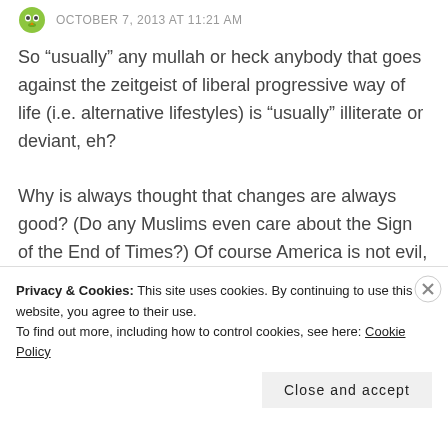OCTOBER 7, 2013 AT 11:21 AM
So “usually” any mullah or heck anybody that goes against the zeitgeist of liberal progressive way of life (i.e. alternative lifestyles) is “usually” illiterate or deviant, eh?
Why is always thought that changes are always good? (Do any Muslims even care about the Sign of the End of Times?) Of course America is not evil, heck I am an American myself and I think Muslims have probably more rights here than in the Muslim world. But I jeer at your liberal
Privacy & Cookies: This site uses cookies. By continuing to use this website, you agree to their use.
To find out more, including how to control cookies, see here: Cookie Policy
Close and accept